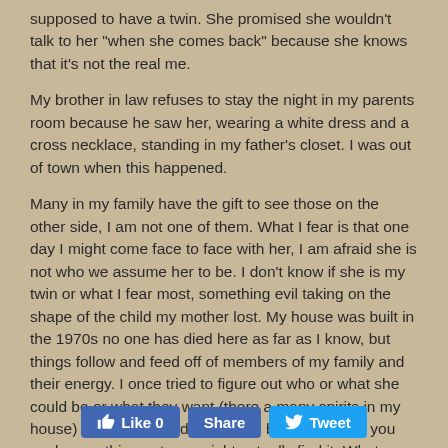supposed to have a twin. She promised she wouldn't talk to her "when she comes back" because she knows that it's not the real me.

My brother in law refuses to stay the night in my parents room because he saw her, wearing a white dress and a cross necklace, standing in my father's closet. I was out of town when this happened.

Many in my family have the gift to see those on the other side, I am not one of them. What I fear is that one day I might come face to face with her, I am afraid she is not who we assume her to be. I don't know if she is my twin or what I fear most, something evil taking on the shape of the child my mother lost. My house was built in the 1970s no one has died here as far as I know, but things follow and feed off of members of my family and their energy. I once tried to figure out who or what she could be or what they want (there a many spirits in my house) my dad begged me not to, because when you seek something out you might actually find it. What could it be?
[Figure (other): Social media buttons: Facebook Like (0), Facebook Share, Twitter Tweet]